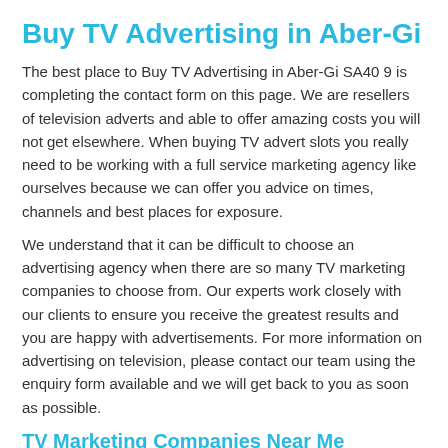Buy TV Advertising in Aber-Gi
The best place to Buy TV Advertising in Aber-Gi SA40 9 is completing the contact form on this page. We are resellers of television adverts and able to offer amazing costs you will not get elsewhere. When buying TV advert slots you really need to be working with a full service marketing agency like ourselves because we can offer you advice on times, channels and best places for exposure.
We understand that it can be difficult to choose an advertising agency when there are so many TV marketing companies to choose from. Our experts work closely with our clients to ensure you receive the greatest results and you are happy with advertisements. For more information on advertising on television, please contact our team using the enquiry form available and we will get back to you as soon as possible.
TV Marketing Companies Near Me
There are many TV marketing companies to choose from, yet we aim to offer you the greatest services at competitive rates...